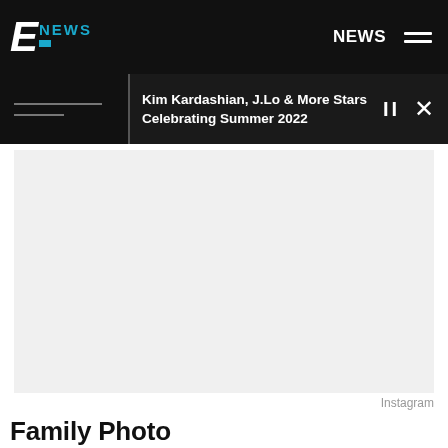E! NEWS — NEWS
Kim Kardashian, J.Lo & More Stars Celebrating Summer 2022
[Figure (photo): Blank/placeholder image area, light gray background representing a photo]
Instagram
Family Photo